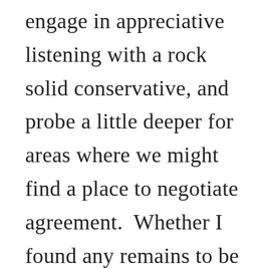engage in appreciative listening with a rock solid conservative, and probe a little deeper for areas where we might find a place to negotiate agreement.  Whether I found any remains to be seen, but it's better than